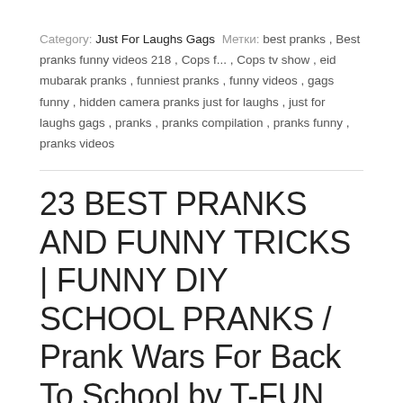Category: Just For Laughs Gags  Метки: best pranks , Best pranks funny videos 218 , Cops f... , Cops tv show , eid mubarak pranks , funniest pranks , funny videos , gags funny , hidden camera pranks just for laughs , just for laughs gags , pranks , pranks compilation , pranks funny , pranks videos
23 BEST PRANKS AND FUNNY TRICKS | FUNNY DIY SCHOOL PRANKS / Prank Wars For Back To School by T-FUN
23 BEST PRANKS AND FUNNY TRICKS | FUNNY DIY SCHOOL PRANKS / Prank Wars For Back To School by T-FUN https://...